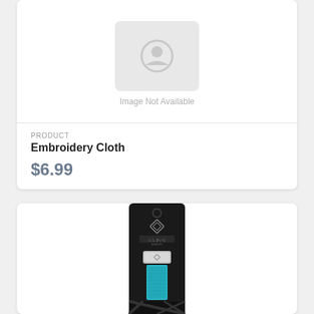[Figure (illustration): Image not available placeholder with camera icon and text 'Image Not Available']
PRODUCT
Embroidery Cloth
$6.99
[Figure (photo): Product photo of a Japanese embroidery thread on a black card packaging with teal/turquoise colored thread visible, with a Japanese brand logo and geometric pattern]